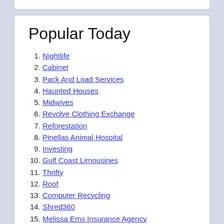Popular Today
Nightlife
Cabinet
Pack And Load Services
Haunted Houses
Midwives
Revolve Clothing Exchange
Reforestation
Pinellas Animal Hospital
Investing
Gulf Coast Limousines
Thrifty
Roof
Computer Recycling
Shred360
Melissa Ems Insurance Agency
The Reserves Network